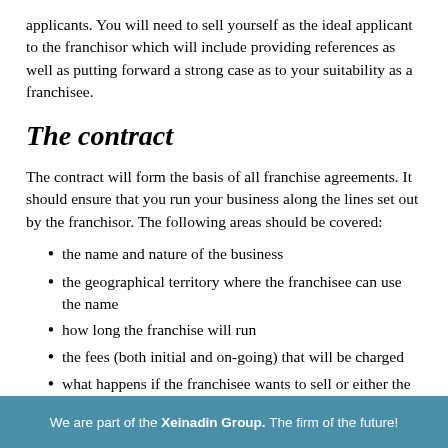applicants. You will need to sell yourself as the ideal applicant to the franchisor which will include providing references as well as putting forward a strong case as to your suitability as a franchisee.
The contract
The contract will form the basis of all franchise agreements. It should ensure that you run your business along the lines set out by the franchisor. The following areas should be covered:
the name and nature of the business
the geographical territory where the franchisee can use the name
how long the franchise will run
the fees (both initial and on-going) that will be charged
what happens if the franchisee wants to sell or either the franchisee or franchisor want to end the agreement
the terms of the relationship, specifically that the franchisor will provide training, advertising etc and that the
We are part of the Xeinadin Group. The firm of the future!